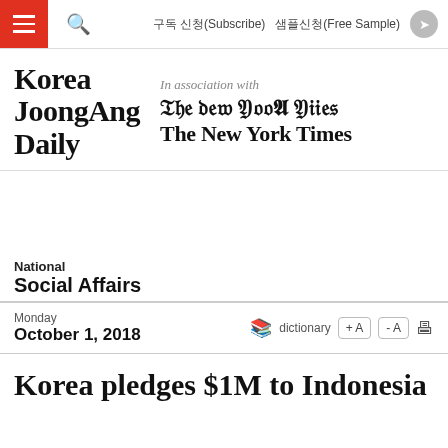구독 신청(Subscribe)   샘플신청(Free Sample)
[Figure (logo): Korea JoongAng Daily - In association with The New York Times masthead logo]
National
Social Affairs
Monday
October 1, 2018
Korea pledges $1M to Indonesia